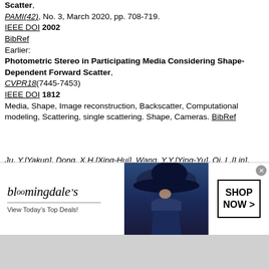Scatter, PAMI(42), No. 3, March 2020, pp. 708-719. IEEE DOI 2002 BibRef Earlier: Photometric Stereo in Participating Media Considering Shape-Dependent Forward Scatter, CVPR18(7445-7453) IEEE DOI 1812 Media, Shape, Image reconstruction, Backscatter, Computational modeling, Scattering, single scattering. Shape, Cameras. BibRef
Ju, Y.[Yakun], Dong, X.H.[Xing-Hui], Wang, Y.Y.[Ying-Yu], Qi, L.[Lin], Dong, J.Y.[Jun-Yu], A dual-cue network for multispectral photometric stereo, PR(100), 2020, pp. 107162. Elsevier DOI 2005 Multispectral photometric stereo, Normal estimation, Deep
[Figure (other): Bloomingdale's advertisement banner with woman in hat, 'View Today's Top Deals!' and 'SHOP NOW >' button]